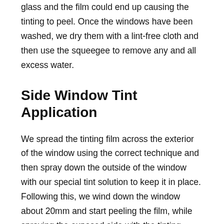glass and the film could end up causing the tinting to peel. Once the windows have been washed, we dry them with a lint-free cloth and then use the squeegee to remove any and all excess water.
Side Window Tint Application
We spread the tinting film across the exterior of the window using the correct technique and then spray down the outside of the window with our special tint solution to keep it in place. Following this, we wind down the window about 20mm and start peeling the film, while spraying the exposed side with the tinting solution. We custom fit the tint film to the top of the window and then a squeegee is used starting from the top of the film, moving downwards while raising the window.